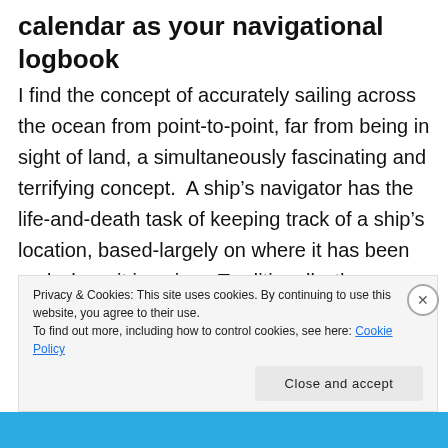calendar as your navigational logbook
I find the concept of accurately sailing across the ocean from point-to-point, far from being in sight of land, a simultaneously fascinating and terrifying concept.  A ship’s navigator has the life-and-death task of keeping track of a ship’s location, based-largely on where it has been and where it is going.  Traditionally, these records of where a ship has been and
Privacy & Cookies: This site uses cookies. By continuing to use this website, you agree to their use.
To find out more, including how to control cookies, see here: Cookie Policy
Close and accept